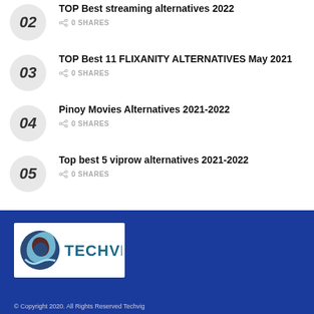02 — TOP Best streaming alternatives 2022 | 0 SHARES
03 — TOP Best 11 FLIXANITY ALTERNATIVES May 2021 | 0 SHARES
04 — Pinoy Movies Alternatives 2021-2022 | 0 SHARES
05 — Top best 5 viprow alternatives 2021-2022 | 0 SHARES
[Figure (logo): Techvig logo with teal text and circular blue/light-blue swirl icon]
© Copyright 2020. All Rights Reserved Techvig